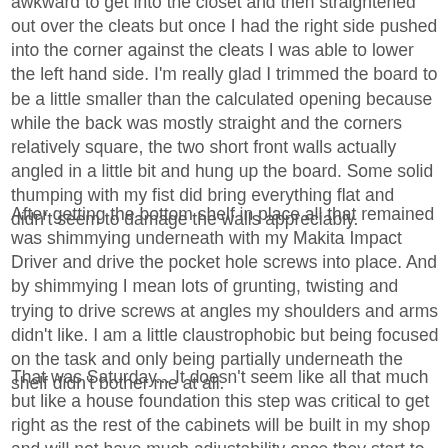awkward to get into the closet and then straightened out over the cleats but once I had the right side pushed into the corner against the cleats I was able to lower the left hand side. I'm really glad I trimmed the board to be a little smaller than the calculated opening because while the back was mostly straight and the corners relatively square, the two short front walls actually angled in a little bit and hung up the board. Some solid thumping with my fist did bring everything flat and didn't seem to damage the walls appreciably.
After getting the bottom shelf in place all that remained was shimmying underneath with my Makita Impact Driver and drive the pocket hole screws into place. And by shimmying I mean lots of grunting, twisting and trying to drive screws at angles my shoulders and arms didn't like. I am a little claustrophobic but being focused on the task and only being partially underneath the shelf didn't bother me at all.
That was Saturday... It doesn't seem like all that much but like a house foundation this step was critical to get right as the rest of the cabinets will be built in my shop and will not have much adjustability once they start to go in.